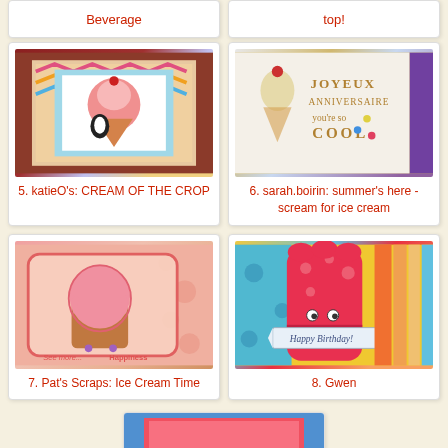Beverage
top!
[Figure (photo): Handmade card with kawaii ice cream cone and penguin on colorful patterned background]
5. katieO's: CREAM OF THE CROP
[Figure (photo): Handmade card with watercolor ice cream and text 'Joyeux Anniversaire you're so cool']
6. sarah.boirin: summer's here - scream for ice cream
[Figure (photo): Handmade card with die-cut pink ice cream cone on pink patterned background saying happiness]
7. Pat's Scraps: Ice Cream Time
[Figure (photo): Handmade birthday card with colorful paper strips forming ice cream shape and Happy Birthday banner]
8. Gwen
[Figure (photo): Partial view of another handmade card at bottom]